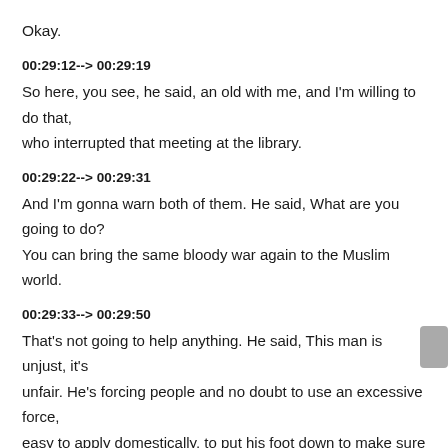Okay.
00:29:12--> 00:29:19
So here, you see, he said, an old with me, and I'm willing to do that, who interrupted that meeting at the library.
00:29:22--> 00:29:31
And I'm gonna warn both of them. He said, What are you going to do? You can bring the same bloody war again to the Muslim world.
00:29:33--> 00:29:50
That's not going to help anything. He said, This man is unjust, it's unfair. He's forcing people and no doubt to use an excessive force, easy to apply domestically, to put his foot down to make sure that he is the holly. He said this is not going to change anything.